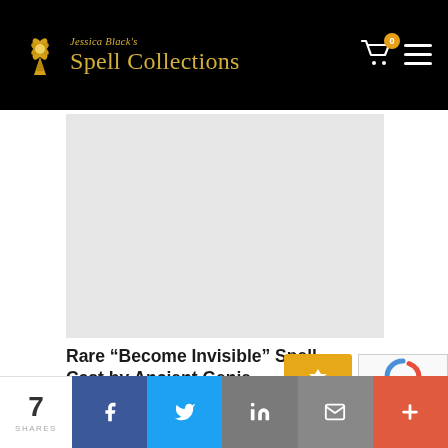Jessica Black's Spell Collections
[Figure (photo): Light gray placeholder image area for the article]
Rare “Become Invisible” Spell Cast by Ancient Genie
7 SHARES